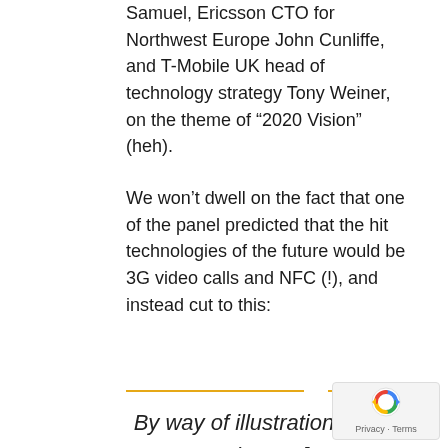Samuel, Ericsson CTO for Northwest Europe John Cunliffe, and T-Mobile UK head of technology strategy Tony Weiner, on the theme of “2020 Vision” (heh).
We won’t dwell on the fact that one of the panel predicted that the hit technologies of the future would be 3G video calls and NFC (!), and instead cut to this:
By way of illustration, Bengt Nordstrom [one of the interviewees] takes a punt on the 2020 Mobile World Congress awards. The even,
[Figure (other): reCAPTCHA privacy widget in bottom-right corner with rotating arrows logo and Privacy · Terms text]